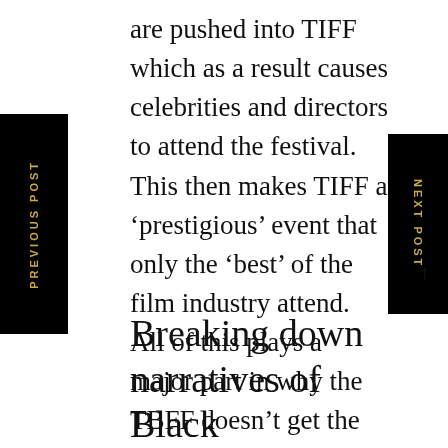are pushed into TIFF which as a result causes celebrities and directors to attend the festival. This then makes TIFF a ‘prestigious’ event that only the ‘best’ of the film industry attend. All of this plays a major part in why the TBFF doesn’t get the same prestigious recognition it deserves in the film industry.
PREVIOUS POST
NEXT POST
Breaking down narratives of Black